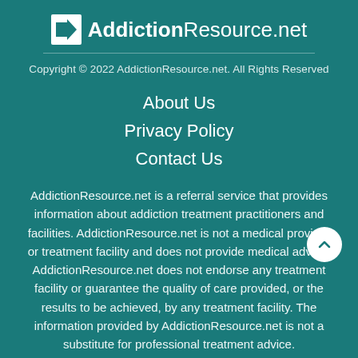[Figure (logo): AddictionResource.net logo with arrow icon and bold/regular text]
Copyright © 2022 AddictionResource.net. All Rights Reserved
About Us
Privacy Policy
Contact Us
AddictionResource.net is a referral service that provides information about addiction treatment practitioners and facilities. AddictionResource.net is not a medical provider or treatment facility and does not provide medical advice. AddictionResource.net does not endorse any treatment facility or guarantee the quality of care provided, or the results to be achieved, by any treatment facility. The information provided by AddictionResource.net is not a substitute for professional treatment advice.